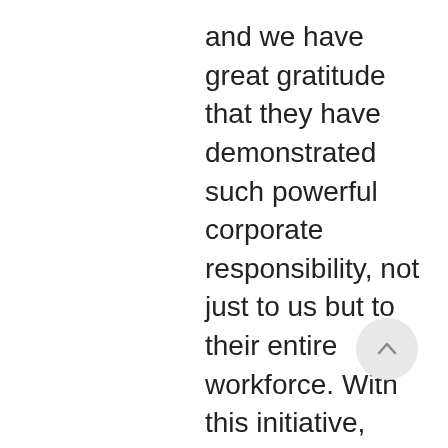and we have great gratitude that they have demonstrated such powerful corporate responsibility, not just to us but to their entire workforce. With this initiative, Food Banks become Farm Banks, which dramatically strengthens Community Resilience and Food/Energy Security. This investment represents a major paradigm shift within the healthy food conversation. Locally-grown foods are now recognized as being of critical importance to the resilience and well-being of our communities. It's even creating green jobs! As you can guess, we will be pursuing the Alegría Farmacy initiative at a national level to assist other food banks to create access to